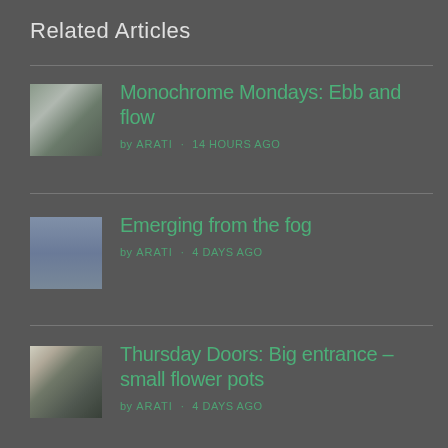Related Articles
Monochrome Mondays: Ebb and flow — by ARATI · 14 HOURS AGO
Emerging from the fog — by ARATI · 4 DAYS AGO
Thursday Doors: Big entrance – small flower pots — by ARATI · 4 DAYS AGO